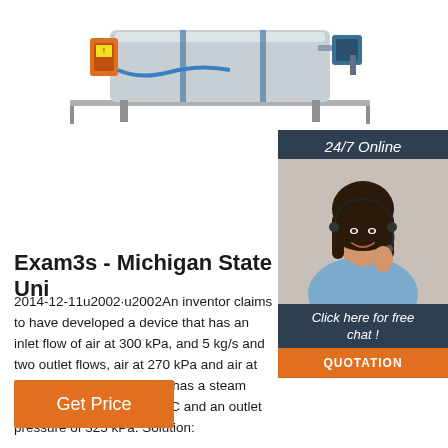[Figure (photo): Industrial boiler/mixer equipment on a metal frame, gray cylindrical body with orange motor, blue trim]
[Figure (photo): Customer service representative woman with headset, smiling, with '24/7 Online' header, 'Click here for free chat!' text, and orange QUOTATION button overlay]
Exam3s - Michigan State Uni
2014-12-11u2002·u2002An inventor claims to have developed a device that has an inlet flow of air at 300 kPa, and 5 kg/s and two outlet flows, air at 270 kPa and air at 270 K and 270 kPa. He ... has a steam input of 15 MPa and 650 °C and an outlet pressure of 325 kPa. Solution:
Get Price